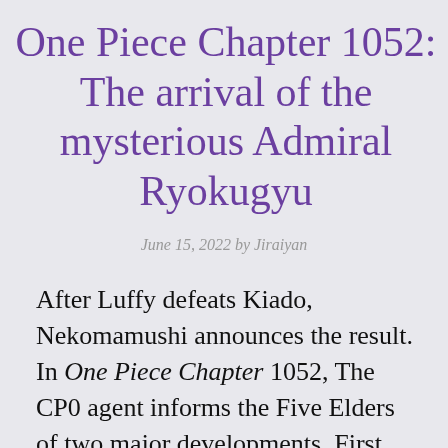One Piece Chapter 1052: The arrival of the mysterious Admiral Ryokugyu
June 15, 2022 by Jiraiyan
After Luffy defeats Kiado, Nekomamushi announces the result. In One Piece Chapter 1052, The CP0 agent informs the Five Elders of two major developments. First, Nika as they feared has emerged and second, both Kiado and Big Mom have been defeated. An Elder states that with the developments in hand...